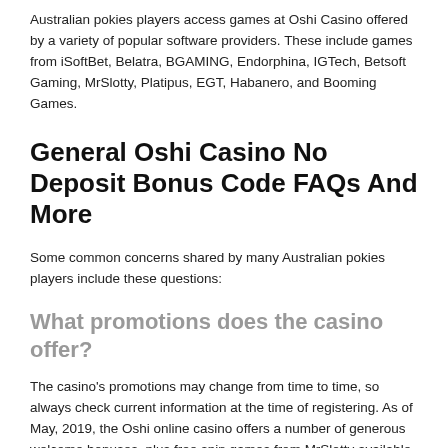Australian pokies players access games at Oshi Casino offered by a variety of popular software providers. These include games from iSoftBet, Belatra, BGAMING, Endorphina, IGTech, Betsoft Gaming, MrSlotty, Platipus, EGT, Habanero, and Booming Games.
General Oshi Casino No Deposit Bonus Code FAQs And More
Some common concerns shared by many Australian pokies players include these questions:
What promotions does the casino offer?
The casino's promotions may change from time to time, so always check current information at the time of registering. As of May, 2019, the Oshi online casino offers a number of generous welcome bonuses, plus free spin games from MrSlotty available for designated games. Welcome bonuses applied to initial, second, third, and fourth deposits without a promo code requirement.